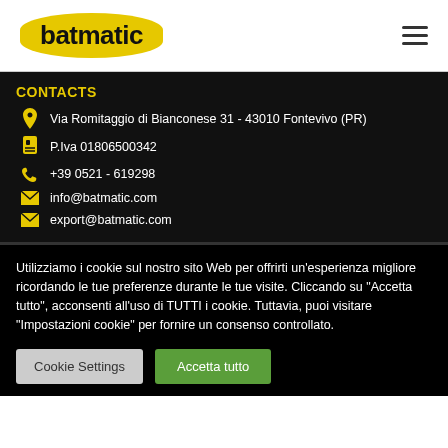[Figure (logo): Batmatic logo: yellow oval with black bold text 'batmatic']
CONTACTS
Via Romitaggio di Bianconese 31 - 43010 Fontevivo (PR)
P.Iva 01806500342
+39 0521 - 619298
info@batmatic.com
export@batmatic.com
Utilizziamo i cookie sul nostro sito Web per offrirti un'esperienza migliore ricordando le tue preferenze durante le tue visite. Cliccando su "Accetta tutto", acconsenti all'uso di TUTTI i cookie. Tuttavia, puoi visitare "Impostazioni cookie" per fornire un consenso controllato.
Cookie Settings | Accetta tutto